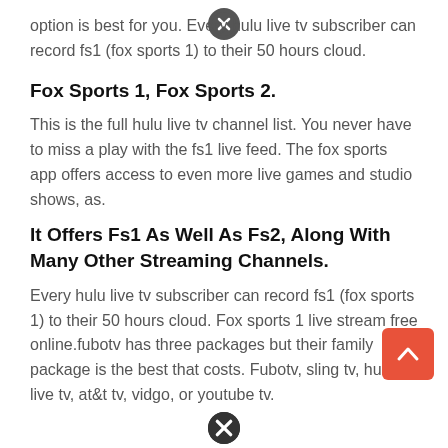option is best for you. Every hulu live tv subscriber can record fs1 (fox sports 1) to their 50 hours cloud.
Fox Sports 1, Fox Sports 2.
This is the full hulu live tv channel list. You never have to miss a play with the fs1 live feed. The fox sports app offers access to even more live games and studio shows, as.
It Offers Fs1 As Well As Fs2, Along With Many Other Streaming Channels.
Every hulu live tv subscriber can record fs1 (fox sports 1) to their 50 hours cloud. Fox sports 1 live stream free online.fubotv has three packages but their family package is the best that costs. Fubotv, sling tv, hulu + live tv, at&t tv, vidgo, or youtube tv.